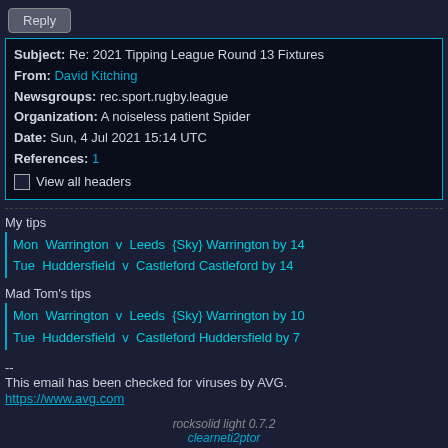Reply
Subject: Re: 2021 Tipping League Round 13 Fixtures
From: David Kitching
Newsgroups: rec.sport.rugby.league
Organization: A noiseless patient Spider
Date: Sun, 4 Jul 2021 15:14 UTC
References: 1
☐ View all headers
My tips
Mon  Warrington  v  Leeds  {Sky} Warrington by 14
Tue  Huddersfield  v  Castleford Castleford by 14
Mad Tom's tips
Mon  Warrington  v  Leeds  {Sky} Warrington by 10
Tue  Huddersfield  v  Castleford Huddersfield by 7
--
This email has been checked for viruses by AVG.
https://www.avg.com
Reply
rec.sport.rugby.league
rocksolid light 0.7.2
clearneti2ptor